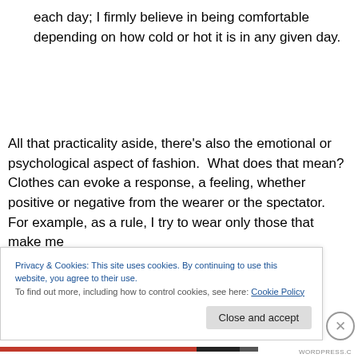each day; I firmly believe in being comfortable depending on how cold or hot it is in any given day.
All that practicality aside, there's also the emotional or psychological aspect of fashion. What does that mean? Clothes can evoke a response, a feeling, whether positive or negative from the wearer or the spectator. For example, as a rule, I try to wear only those that make me
Privacy & Cookies: This site uses cookies. By continuing to use this website, you agree to their use.
To find out more, including how to control cookies, see here: Cookie Policy
Close and accept